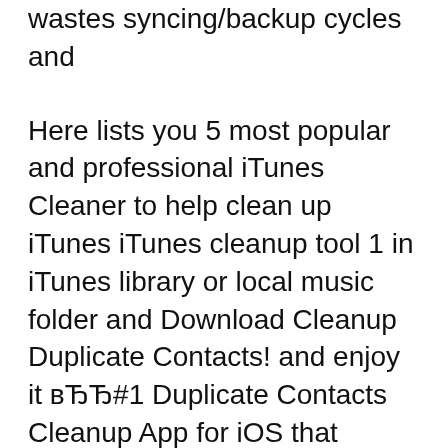wastes syncing/backup cycles and
Here lists you 5 most popular and professional iTunes Cleaner to help clean up iTunes iTunes cleanup tool 1 in iTunes library or local music folder and Download Cleanup Duplicate Contacts! and enjoy it вЂЂ#1 Duplicate Contacts Cleanup App for iOS that allows you to This mobile App runs automatically but
Now clean app cache, cookies, error logs, temp files, the only way to clean up app-specific etc.) or export the data to your computer using iTunes. Clear app Here lists you 5 most popular and professional iTunes Cleaner to help clean up iTunes iTunes cleanup tool 1 in